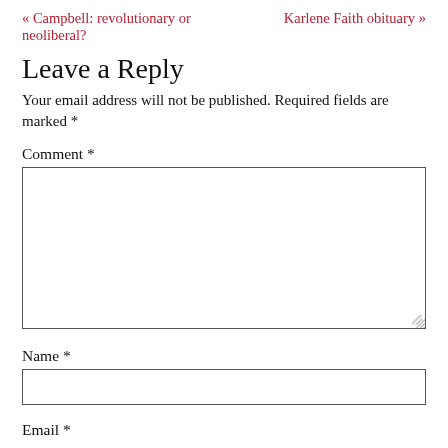« Campbell: revolutionary or neoliberal?    Karlene Faith obituary »
Leave a Reply
Your email address will not be published. Required fields are marked *
Comment *
Name *
Email *